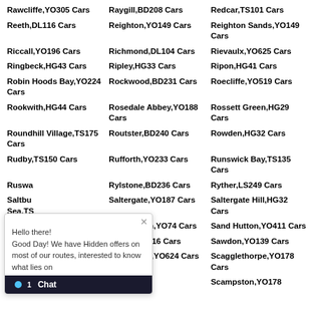Rawcliffe,YO305 Cars
Raygill,BD208 Cars
Redcar,TS101 Cars
Reeth,DL116 Cars
Reighton,YO149 Cars
Reighton Sands,YO149 Cars
Riccall,YO196 Cars
Richmond,DL104 Cars
Rievaulx,YO625 Cars
Ringbeck,HG43 Cars
Ripley,HG33 Cars
Ripon,HG41 Cars
Robin Hoods Bay,YO224 Cars
Rockwood,BD231 Cars
Roecliffe,YO519 Cars
Rookwith,HG44 Cars
Rosedale Abbey,YO188 Cars
Rossett Green,HG29 Cars
Roundhill Village,TS175 Cars
Routster,BD240 Cars
Rowden,HG32 Cars
Rudby,TS150 Cars
Rufforth,YO233 Cars
Runswick Bay,TS135 Cars
Ruswa[...] Cars
Rylstone,BD236 Cars
Ryther,LS249 Cars
Saltbu[...] Sea,TS[...] Cars
Saltergate,YO187 Cars
Saltergate Hill,HG32 Cars
Sandb[...] Cars
Sandhutton,YO74 Cars
Sand Hutton,YO411 Cars
Sandy[...] Cars
Satron,DL116 Cars
Sawdon,YO139 Cars
Sexton[...] Cars
Scackleton,YO624 Cars
Scagglethorpe,YO178 Cars
Scampston,YO178 Cars